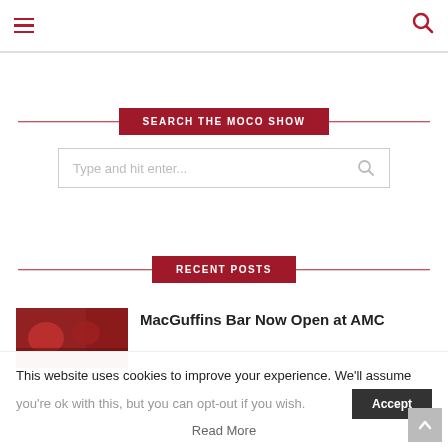Navigation bar with hamburger menu and search icon
SEARCH THE MOCO SHOW
Type and hit enter...
RECENT POSTS
MacGuffins Bar Now Open at AMC
This website uses cookies to improve your experience. We'll assume you're ok with this, but you can opt-out if you wish.
Read More